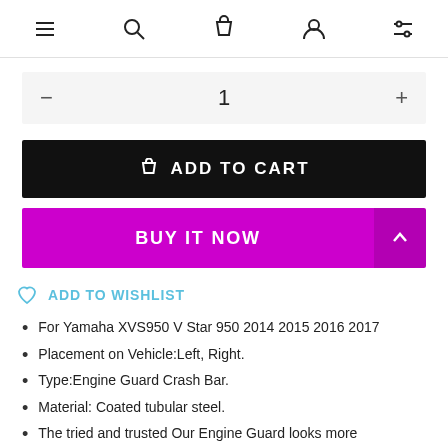Navigation icons: menu, search, cart, account, filters
1
ADD TO CART
BUY IT NOW
ADD TO WISHLIST
For Yamaha XVS950 V Star 950 2014 2015 2016 2017
Placement on Vehicle:Left, Right.
Type:Engine Guard Crash Bar.
Material: Coated tubular steel.
The tried and trusted Our Engine Guard looks more